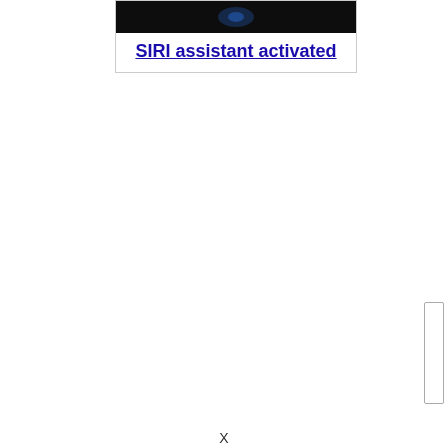[Figure (screenshot): Dark/black image thumbnail at top of card, possibly showing a Siri activation screen with a faint blue glow]
SIRI assistant activated
[Figure (other): Vertical scrollbar indicator on the right side of the page]
X